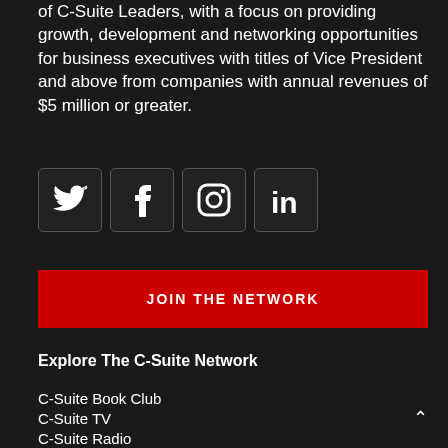of C-Suite Leaders, with a focus on providing growth, development and networking opportunities for business executives with titles of Vice President and above from companies with annual revenues of $5 million or greater.
[Figure (infographic): Four social media icons in dark bordered square buttons: Twitter (bird), Facebook (f), Instagram (camera), LinkedIn (in)]
JOIN THE NETWORK
Explore The C-Suite Network
C-Suite Book Club
C-Suite TV
C-Suite Radio